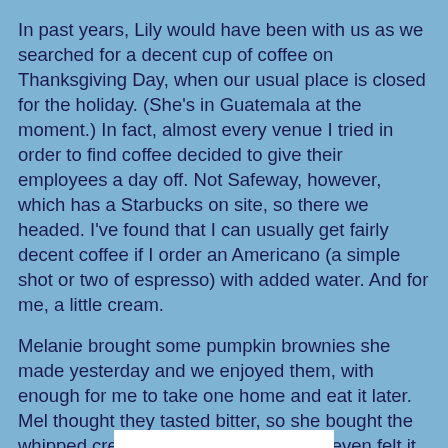In past years, Lily would have been with us as we searched for a decent cup of coffee on Thanksgiving Day, when our usual place is closed for the holiday. (She's in Guatemala at the moment.) In fact, almost every venue I tried in order to find coffee decided to give their employees a day off. Not Safeway, however, which has a Starbucks on site, so there we headed. I've found that I can usually get fairly decent coffee if I order an Americano (a simple shot or two of espresso) with added water. And for me, a little cream.
Melanie brought some pumpkin brownies she made yesterday and we enjoyed them, with enough for me to take one home and eat it later. Mel thought they tasted bitter, so she bought the whipped cream but nobody used it, or even felt it was needed. I found it delicious. After watching the rain come down in sheets from the window, we headed home and decided against trying to get in any sort of hike today. And now, as I sit here writing this post, the wind has come up to drive the heavy rain horizontal. No, unless it changes a lot, I'll not be getting my usual exercise today.